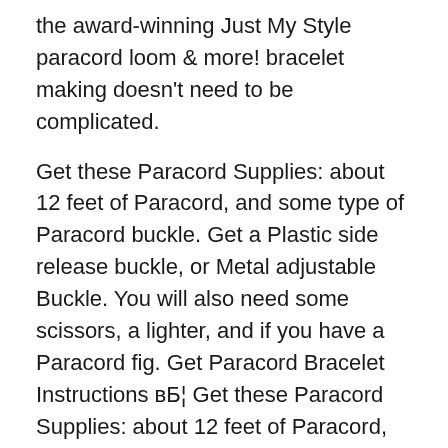the award-winning Just My Style paracord loom & more! bracelet making doesn't need to be complicated.
Get these Paracord Supplies: about 12 feet of Paracord, and some type of Paracord buckle. Get a Plastic side release buckle, or Metal adjustable Buckle. You will also need some scissors, a lighter, and if you have a Paracord fig. Get Paracord Bracelet Instructions вБ¦ Get these Paracord Supplies: about 12 feet of Paracord, and some type of Paracord buckle. Get a Plastic side release buckle, or Metal adjustable Buckle. You will also need some scissors, a lighter, and if you have a Paracord fig. Get Paracord Bracelet Instructions вБ¦